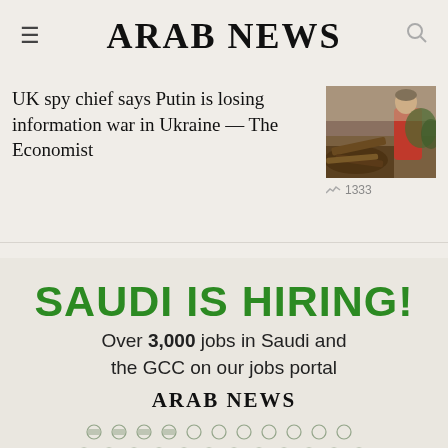ARAB NEWS
UK spy chief says Putin is losing information war in Ukraine — The Economist
1333
[Figure (photo): News thumbnail photo showing a person in a red shirt amid debris or rubble outdoors]
[Figure (infographic): Advertisement banner: SAUDI IS HIRING! Over 3,000 jobs in Saudi and the GCC on our jobs portal — Arab News, with a grid of industry/job icons below]
SAUDI IS HIRING! Over 3,000 jobs in Saudi and the GCC on our jobs portal
ARAB NEWS